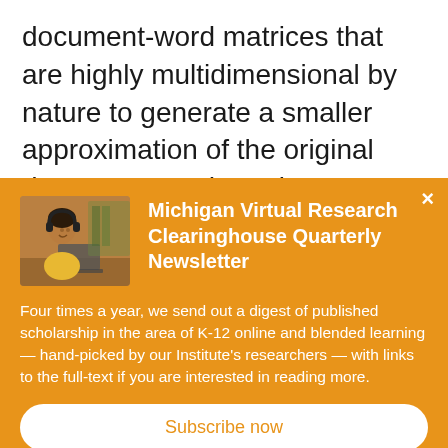document-word matrices that are highly multidimensional by nature to generate a smaller approximation of the original document-word matrix combined with a single-dimension group of words that often appear together. Put simply, the entire data
[Figure (infographic): Orange modal popup for Michigan Virtual Research Clearinghouse Quarterly Newsletter, with a photo of a woman with headphones at a laptop, a close button (×), newsletter title in bold white text, descriptive body text in white, and a white Subscribe now button.]
Michigan Virtual Research Clearinghouse Quarterly Newsletter
Four times a year, we send out a digest of published scholarship in the area of K-12 online and blended learning — hand-picked by our Institute's researchers — with links to the full-text if you are interested in reading more.
Subscribe now